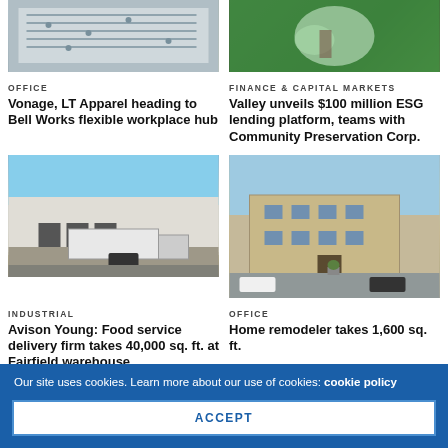[Figure (photo): Overhead view of office/dining space with tables and people]
[Figure (photo): Close-up of hands holding plant or seeds against green background]
OFFICE
FINANCE & CAPITAL MARKETS
Vonage, LT Apparel heading to Bell Works flexible workplace hub
Valley unveils $100 million ESG lending platform, teams with Community Preservation Corp.
[Figure (photo): Exterior of industrial warehouse with truck at loading dock]
[Figure (photo): Exterior of two-story office building with parking lot]
INDUSTRIAL
OFFICE
Avison Young: Food service delivery firm takes 40,000 sq. ft. at Fairfield warehouse
Home remodeler takes 1,600 sq. ft.
Our site uses cookies. Learn more about our use of cookies: cookie policy
ACCEPT